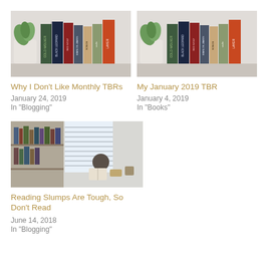[Figure (photo): Colorful books standing upright on a shelf with a white plant pot and green plant in the background]
Why I Don't Like Monthly TBRs
January 24, 2019
In "Blogging"
[Figure (photo): Same colorful books on shelf with white plant pot and green plant]
My January 2019 TBR
January 4, 2019
In "Books"
[Figure (photo): Person sitting at a desk reading a book near a window with blinds, bookshelves visible]
Reading Slumps Are Tough, So Don't Read
June 14, 2018
In "Blogging"